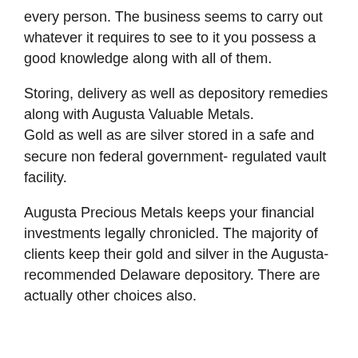every person. The business seems to carry out whatever it requires to see to it you possess a good knowledge along with all of them.
Storing, delivery as well as depository remedies along with Augusta Valuable Metals.
Gold as well as are silver stored in a safe and secure non federal government- regulated vault facility.
Augusta Precious Metals keeps your financial investments legally chronicled. The majority of clients keep their gold and silver in the Augusta-recommended Delaware depository. There are actually other choices also.